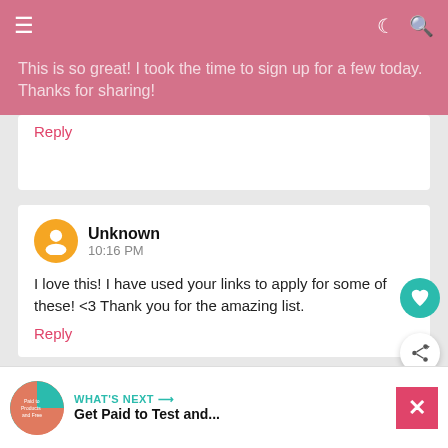≡
This is so great! I took the time to sign up for a few today. Thanks for sharing!
Reply
Unknown
10:16 PM
I love this! I have used your links to apply for some of these! <3 Thank you for the amazing list.
Reply
Unknown
2:32 PM
This post is super helpful! I had joined many of these but found some new ones on your list. Thanks so much!